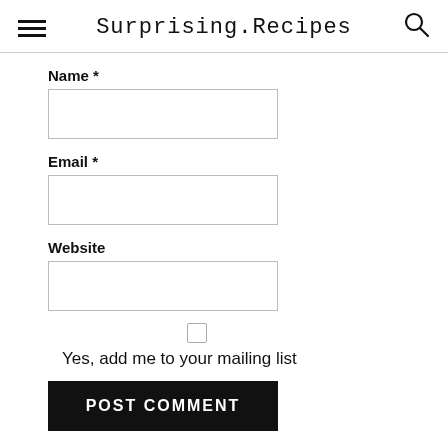Surprising.Recipes
Name *
Email *
Website
Yes, add me to your mailing list
POST COMMENT